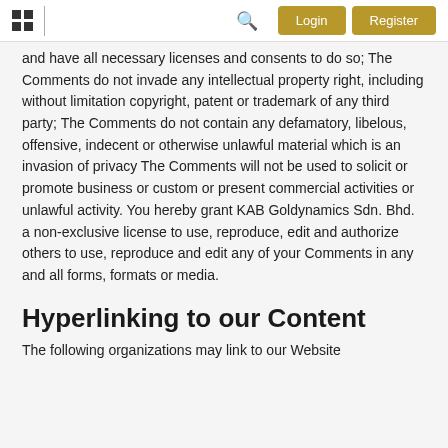Login | Register
and have all necessary licenses and consents to do so; The Comments do not invade any intellectual property right, including without limitation copyright, patent or trademark of any third party; The Comments do not contain any defamatory, libelous, offensive, indecent or otherwise unlawful material which is an invasion of privacy The Comments will not be used to solicit or promote business or custom or present commercial activities or unlawful activity. You hereby grant KAB Goldynamics Sdn. Bhd. a non-exclusive license to use, reproduce, edit and authorize others to use, reproduce and edit any of your Comments in any and all forms, formats or media.
Hyperlinking to our Content
The following organizations may link to our Website